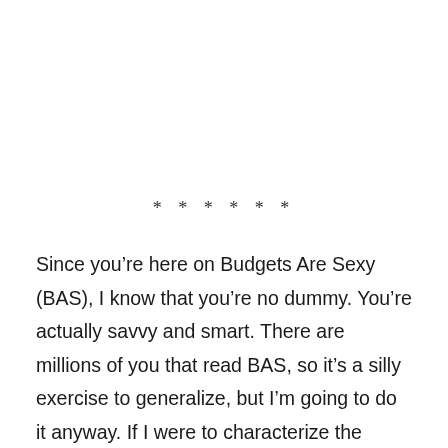* * * * * *
Since you’re here on Budgets Are Sexy (BAS), I know that you’re no dummy. You’re actually savvy and smart. There are millions of you that read BAS, so it’s a silly exercise to generalize, but I’m going to do it anyway. If I were to characterize the average BAS reader, I’d say